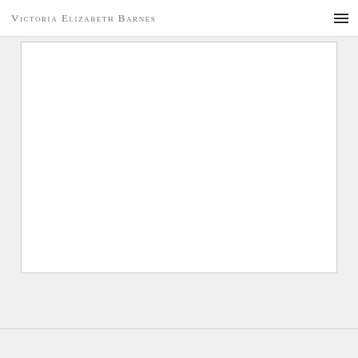Victoria Elizabeth Barnes
[Figure (other): Large white rectangular image placeholder with a thin border, occupying most of the page content area below the header.]
[Figure (other): Close/dismiss button (X) in the bottom-right corner, circular with an X symbol.]